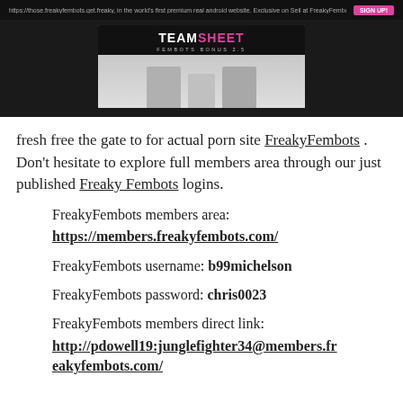[Figure (screenshot): Screenshot of a website banner showing a 'Team Sheet' promo image with people and a pink header, on a dark background.]
fresh free the gate to for actual porn site FreakyFembots . Don't hesitate to explore full members area through our just published Freaky Fembots logins.
FreakyFembots members area: https://members.freakyfembots.com/
FreakyFembots username: b99michelson
FreakyFembots password: chris0023
FreakyFembots members direct link: http://pdowell19:junglefighter34@members.freakyfembots.com/